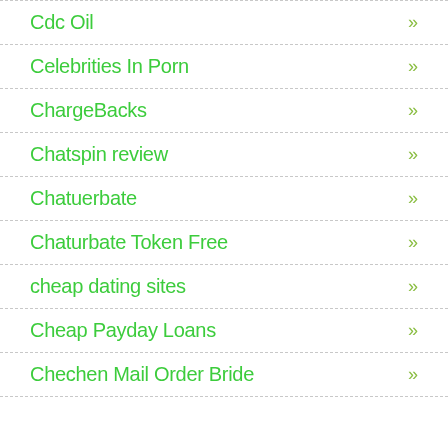Cdc Oil »
Celebrities In Porn »
ChargeBacks »
Chatspin review »
Chatuerbate »
Chaturbate Token Free »
cheap dating sites »
Cheap Payday Loans »
Chechen Mail Order Bride »